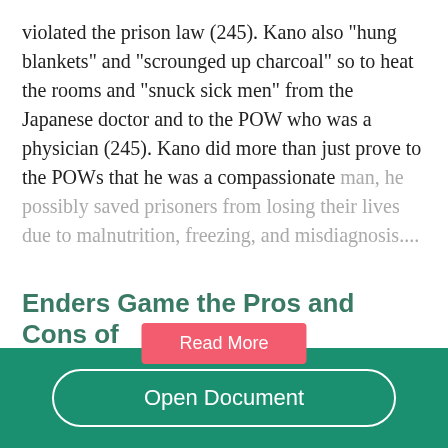violated the prison law (245). Kano also "hung blankets" and "scrounged up charcoal" so to heat the rooms and "snuck sick men" from the Japanese doctor and to the POW who was a physician (245). Kano did more than just prove to the POWs that he was a compassionate man, he possibly saved prisoners from losing their lives due to malnutrition, freezing, and misdiagnosis....
[Figure (other): Red 'Read More' button overlay]
Enders Game the Pros and Cons of
Open Document